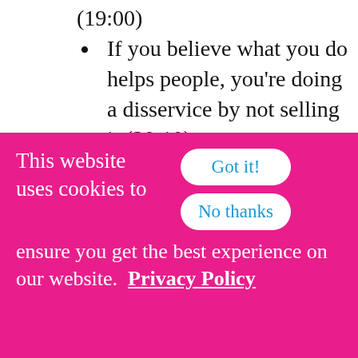(19:00)
If you believe what you do helps people, you're doing a disservice by not selling it (20:10)
Erika Tebbens is a Business Growth Strategist for ambitious womxn entrepreneurs. She's an expert in selling and sustainably scaling your business without restoring to
[Figure (other): Social share sidebar with Pinterest, Facebook, LinkedIn, Twitter, and Email buttons]
This website uses cookies to ensure you get the best experience on our website.  Privacy Policy